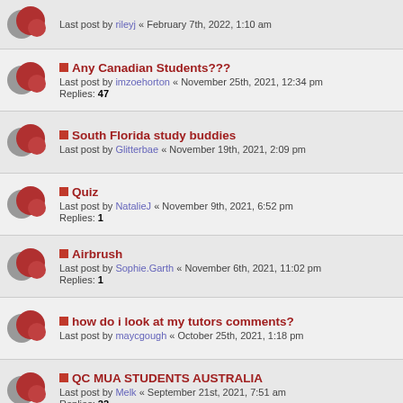Last post by rileyj « February 7th, 2022, 1:10 am
Any Canadian Students??? Last post by imzoehorton « November 25th, 2021, 12:34 pm Replies: 47
South Florida study buddies Last post by Glitterbae « November 19th, 2021, 2:09 pm
Quiz Last post by NatalieJ « November 9th, 2021, 6:52 pm Replies: 1
Airbrush Last post by Sophie.Garth « November 6th, 2021, 11:02 pm Replies: 1
how do i look at my tutors comments? Last post by maycgough « October 25th, 2021, 1:18 pm
QC MUA STUDENTS AUSTRALIA Last post by Melk « September 21st, 2021, 7:51 am Replies: 22
B4- Blending help Last post by KSheikh « September 6th, 2021, 4:36 am
Assignment B1